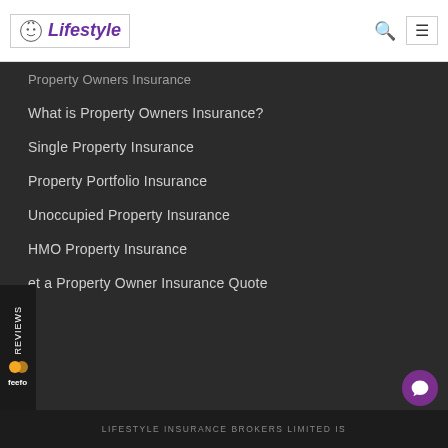Lifestyle
Property Owners Insurance
What is Property Owners Insurance?
Single Property Insurance
Property Portfolio Insurance
Unoccupied Property Insurance
HMO Property Insurance
Get a Property Owner Insurance Quote
LIFESTYLE INSURANCE BROKERS LIMITED IS